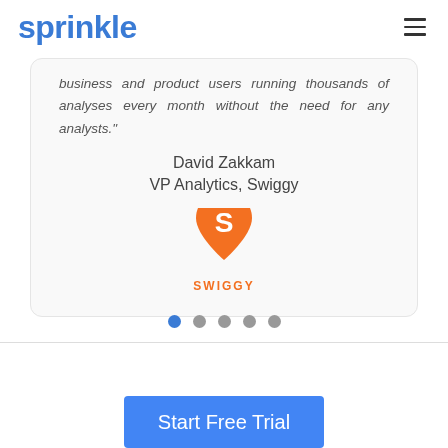sprinkle
business and product users running thousands of analyses every month without the need for any analysts."
David Zakkam
VP Analytics, Swiggy
[Figure (logo): Swiggy logo — orange map-pin shaped icon with letter S and text SWIGGY below]
[Figure (other): Carousel navigation dots — 5 circles, first one blue (active), rest grey]
Start Free Trial